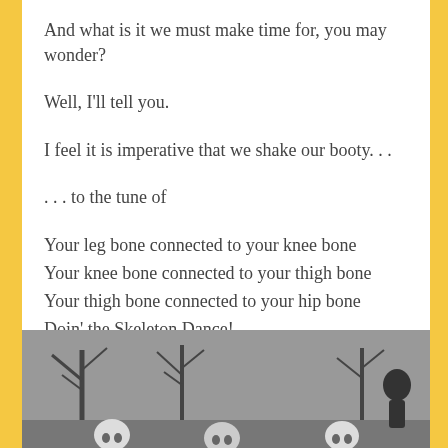And what is it we must make time for, you may wonder?
Well, I'll tell you.
I feel it is imperative that we shake our booty. . .
. . . to the tune of
Your leg bone connected to your knee bone
Your knee bone connected to your thigh bone
Your thigh bone connected to your hip bone
Doin' the Skeleton Dance!
etc... 😊 ☠
[Figure (photo): Black and white photo of animated skeleton figures dancing among bare trees]